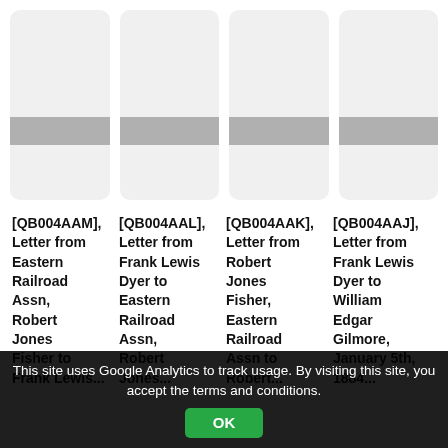[Figure (screenshot): Four grey rounded-rectangle card placeholders with a grey stripe band across the middle of each card, arranged in a horizontal row.]
[QB004AAM], Letter from Eastern Railroad Assn, Robert Jones Fisher to Frank Lewis...
[QB004AAL], Letter from Frank Lewis Dyer to Eastern Railroad Assn, Robert Jones...
[QB004AAK], Letter from Robert Jones Fisher, Eastern Railroad Assn to Robert...
[QB004AAJ], Letter from Frank Lewis Dyer to William Edgar Gilmore, January 5th, 1884...
This site uses Google Analytics to track usage. By visiting this site, you accept the terms and conditions.
OK